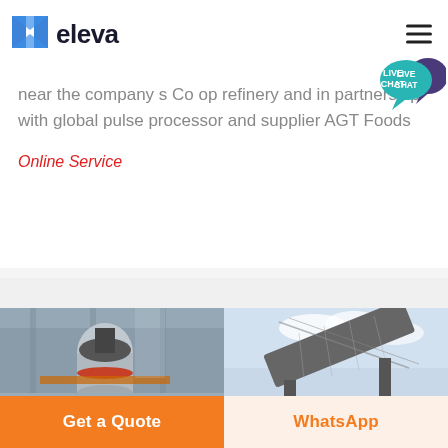[Figure (logo): Eleva company logo with blue book/elevator icon and bold 'eleva' text]
near the company s Co op refinery and in partnership with global pulse processor and supplier AGT Foods
Online Service
[Figure (photo): Industrial machinery/mill equipment inside a factory building]
[Figure (photo): Industrial conveyor belt or screening equipment outdoors]